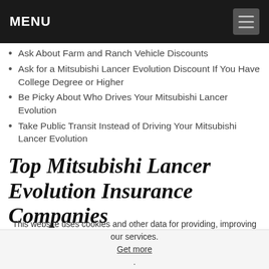MENU
Ask About Farm and Ranch Vehicle Discounts
Ask for a Mitsubishi Lancer Evolution Discount If You Have College Degree or Higher
Be Picky About Who Drives Your Mitsubishi Lancer Evolution
Take Public Transit Instead of Driving Your Mitsubishi Lancer Evolution
Top Mitsubishi Lancer Evolution Insurance Companies
The best auto insurance companies for Mitsubishi Lancer Evolution auto insurance rates will offer competitive rates,
This website uses cookies and other data for providing, improving our services. Get more. Got it